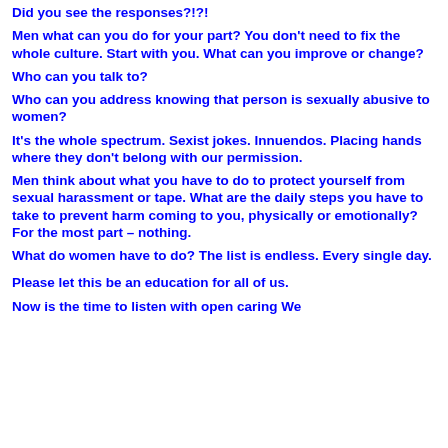Did you see the responses?!?!
Men what can you do for your part? You don't need to fix the whole culture. Start with you. What can you improve or change?
Who can you talk to?
Who can you address knowing that person is sexually abusive to women?
It's the whole spectrum. Sexist jokes. Innuendos. Placing hands where they don't belong with our permission.
Men think about what you have to do to protect yourself from sexual harassment or tape. What are the daily steps you have to take to prevent harm coming to you, physically or emotionally? For the most part – nothing.
What do women have to do? The list is endless. Every single day.
Please let this be an education for all of us.
Now is the time to listen with open caring We